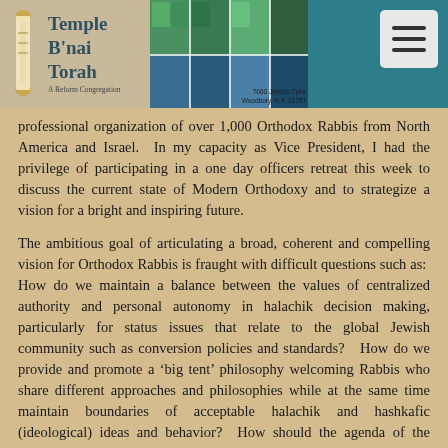Temple B'nai Torah — A Reform Congregation
professional organization of over 1,000 Orthodox Rabbis from North America and Israel.  In my capacity as Vice President, I had the privilege of participating in a one day officers retreat this week to discuss the current state of Modern Orthodoxy and to strategize a vision for a bright and inspiring future.
The ambitious goal of articulating a broad, coherent and compelling vision for Orthodox Rabbis is fraught with difficult questions such as:  How do we maintain a balance between the values of centralized authority and personal autonomy in halachik decision making, particularly for status issues that relate to the global Jewish community such as conversion policies and standards?   How do we provide and promote a 'big tent' philosophy welcoming Rabbis who share different approaches and philosophies while at the same time maintain boundaries of acceptable halachik and hashkafic (ideological) ideas and behavior?  How should the agenda of the Jewish community be set